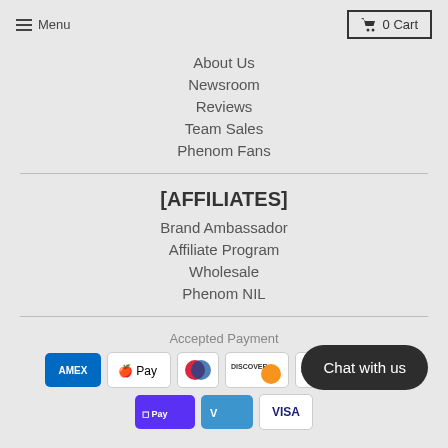Menu | 0 Cart
About Us
Newsroom
Reviews
Team Sales
Phenom Fans
[AFFILIATES]
Brand Ambassador
Affiliate Program
Wholesale
Phenom NIL
Accepted Payment
[Figure (other): Payment method icons: AMEX, Apple Pay, Diners Club, Discover, Meta Pay, Google Pay, Shop Pay, Venmo, Visa]
Chat with us